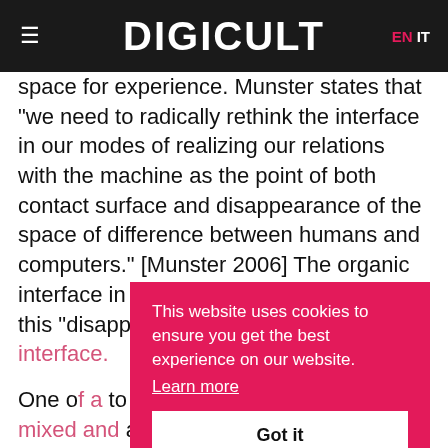DIGICULT | EN IT
space for experience. Munster states that "we need to radically rethink the interface in our modes of realizing our relations with the machine as the point of both contact surface and disappearance of the space of difference between humans and computers." [Munster 2006] The organic interface in technésexual demonstrates this "disappearance" by internalizing the interface.
One of a [partial] ...to move focus on the visual in mixed and augmented reality applications. Alexander Galloway's recent essay "The Unworkable Interface" considers the trend towards the invisibility of interfaces.
Galloway's writing has explored the shift from a
This website uses cookies to ensure you get the best experience on our website. Learn more Got it